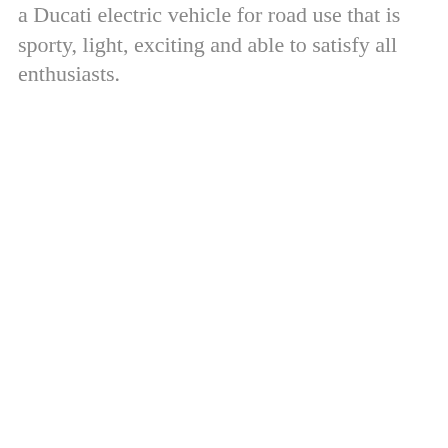a Ducati electric vehicle for road use that is sporty, light, exciting and able to satisfy all enthusiasts.